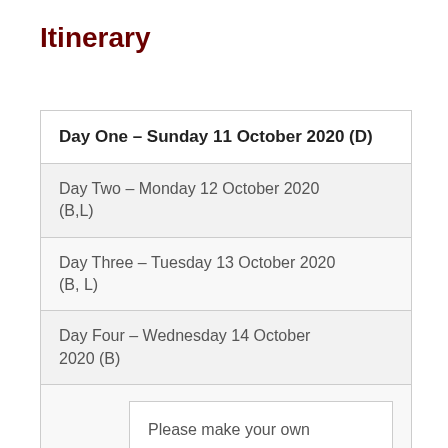Itinerary
| Day One – Sunday 11 October 2020 (D) |
| Day Two – Monday 12 October 2020 (B,L) |
| Day Three – Tuesday 13 October 2020 (B, L) |
| Day Four – Wednesday 14 October 2020 (B) |
| Please make your own travel arrangements to arrive at Ayers Rock |